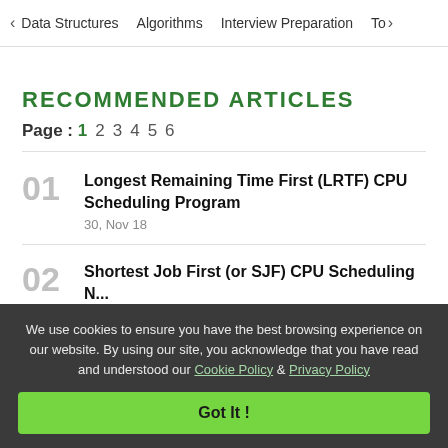Data Structures   Algorithms   Interview Preparation   To>
RECOMMENDED ARTICLES
Page : 1 2 3 4 5 6
01 Longest Remaining Time First (LRTF) CPU Scheduling Program — 30, Nov 18
02 Shortest Job First (or SJF) CPU Scheduling N...
We use cookies to ensure you have the best browsing experience on our website. By using our site, you acknowledge that you have read and understood our Cookie Policy & Privacy Policy
Got It !